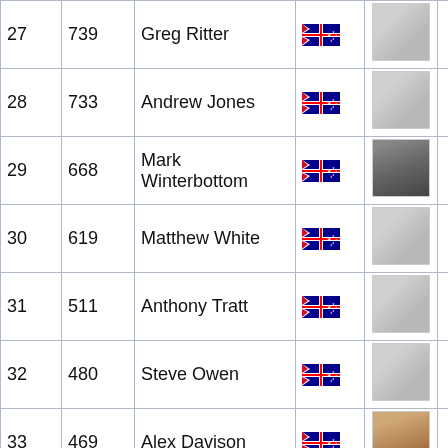| Rank | Points | Name | Flag | Photo |  |
| --- | --- | --- | --- | --- | --- |
| 27 | 739 | Greg Ritter | AUS |  |  |
| 28 | 733 | Andrew Jones | AUS |  |  |
| 29 | 668 | Mark Winterbottom | AUS |  |  |
| 30 | 619 | Matthew White | AUS |  |  |
| 31 | 511 | Anthony Tratt | AUS |  |  |
| 32 | 480 | Steve Owen | AUS |  |  |
| 33 | 469 | Alex Davison | AUS |  |  |
| 34 | 437 | Simon Wills | AUS |  |  |
| 35 | 312 | Dean Canto | AUS |  |  |
| 36 | 280 | David Brabham | AUS |  |  |
| 37 | 220 | Owen Kelly | AUS |  |  |